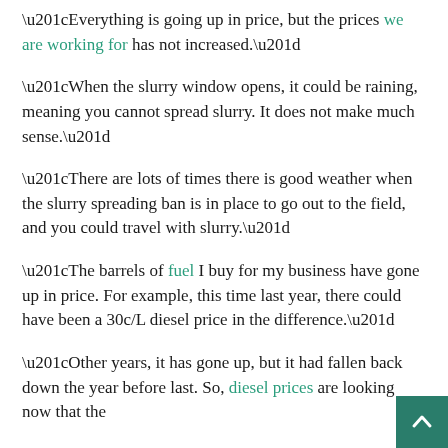“Everything is going up in price, but the prices we are working for has not increased.”
“When the slurry window opens, it could be raining, meaning you cannot spread slurry. It does not make much sense.”
“There are lots of times there is good weather when the slurry spreading ban is in place to go out to the field, and you could travel with slurry.”
“The barrels of fuel I buy for my business have gone up in price. For example, this time last year, there could have been a 30c/L diesel price in the difference.”
“Other years, it has gone up, but it had fallen back down the year before last. So, diesel prices are looking now that the